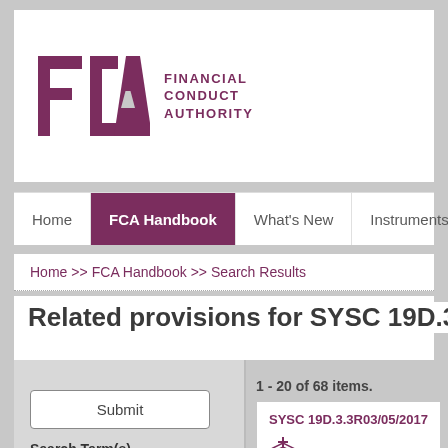[Figure (logo): FCA Financial Conduct Authority logo with geometric diamond/arrow shapes in dark magenta/purple]
Home | FCA Handbook | What's New | Instruments | Forms | G
Home >> FCA Handbook >> Search Results
Related provisions for SYSC 19D.3.27
1 - 20 of 68 items.
Submit
Search Term(s)
Enter a search text...
Filter by Topics
SYSC 19D.3.3R03/05/2017
(1) This section applies in re... When establishing and appl... staff, a firm must comply wit...